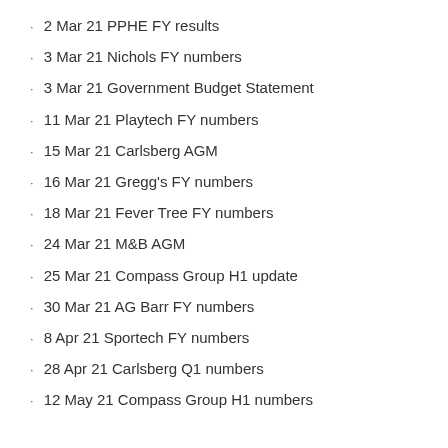2 Mar 21 PPHE FY results
3 Mar 21 Nichols FY numbers
3 Mar 21 Government Budget Statement
11 Mar 21 Playtech FY numbers
15 Mar 21 Carlsberg AGM
16 Mar 21 Gregg's FY numbers
18 Mar 21 Fever Tree FY numbers
24 Mar 21 M&B AGM
25 Mar 21 Compass Group H1 update
30 Mar 21 AG Barr FY numbers
8 Apr 21 Sportech FY numbers
28 Apr 21 Carlsberg Q1 numbers
12 May 21 Compass Group H1 numbers